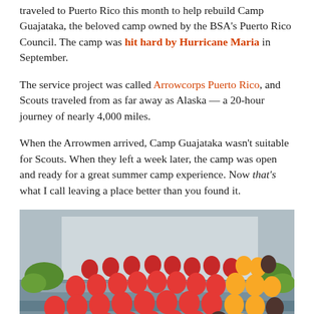traveled to Puerto Rico this month to help rebuild Camp Guajataka, the beloved camp owned by the BSA's Puerto Rico Council. The camp was hit hard by Hurricane Maria in September.
The service project was called Arrowcorps Puerto Rico, and Scouts traveled from as far away as Alaska — a 20-hour journey of nearly 4,000 miles.
When the Arrowmen arrived, Camp Guajataka wasn't suitable for Scouts. When they left a week later, the camp was open and ready for a great summer camp experience. Now that's what I call leaving a place better than you found it.
[Figure (photo): Large group photo of Arrowmen (mostly wearing red shirts, some in yellow) gathered on steps and in front of a building, taken during Arrowcorps Puerto Rico service project at Camp Guajataka.]